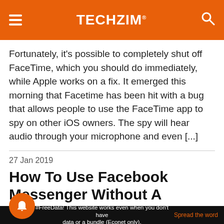TECHZiM
Fortunately, it's possible to completely shut off FaceTime, which you should do immediately, while Apple works on a fix. It emerged this morning that Facetime has been hit with a bug that allows people to use the FaceTime app to spy on other iOS owners. The spy will hear audio through your microphone and even [...]
27 Jan 2019
How To Use Facebook Messenger Without A Facebook Account
en Facebook first created its separate
#FreeData! This website works even when you don't have data or a bundle (Econet only).